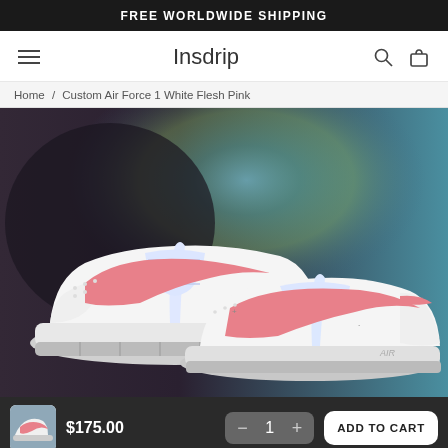FREE WORLDWIDE SHIPPING
Insdrip
Home / Custom Air Force 1 White Flesh Pink
[Figure (photo): Product photo of custom Nike Air Force 1 sneakers with white base and flesh pink swoosh accents, displayed against a dark iridescent background]
$175.00
— 1 + ADD TO CART